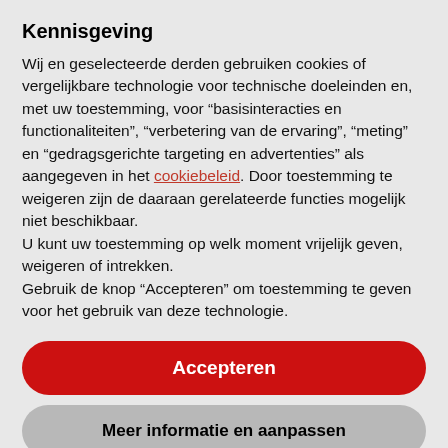Kennisgeving
Wij en geselecteerde derden gebruiken cookies of vergelijkbare technologie voor technische doeleinden en, met uw toestemming, voor “basisinteracties en functionaliteiten”, “verbetering van de ervaring”, “meting” en “gedragsgerichte targeting en advertenties” als aangegeven in het cookiebeleid. Door toestemming te weigeren zijn de daaraan gerelateerde functies mogelijk niet beschikbaar.
U kunt uw toestemming op welk moment vrijelijk geven, weigeren of intrekken.
Gebruik de knop “Accepteren” om toestemming te geven voor het gebruik van deze technologie.
Accepteren
Meer informatie en aanpassen
to provide services, or for any information, software, products, services and related graphics obtained through the Site.